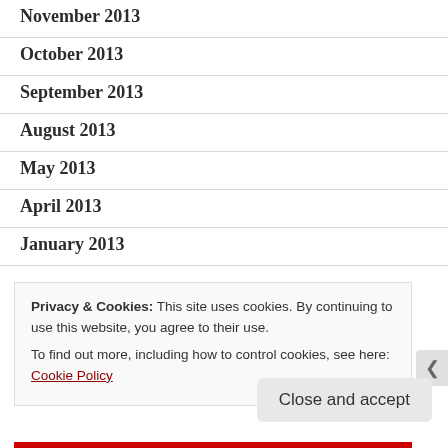November 2013
October 2013
September 2013
August 2013
May 2013
April 2013
January 2013
Privacy & Cookies: This site uses cookies. By continuing to use this website, you agree to their use.
To find out more, including how to control cookies, see here: Cookie Policy
Close and accept